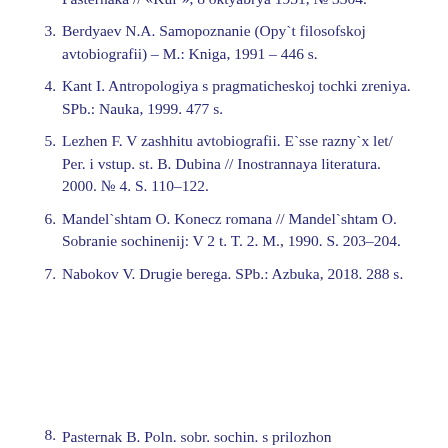Pasternaka // «Kul`», 8 oktyabrya 1931, № 3304.
3. Berdyaev N.A. Samopoznanie (Opy`t filosofskoj avtobiografii) – M.: Kniga, 1991 – 446 s.
4. Kant I. Antropologiya s pragmaticheskoj tochki zreniya. SPb.: Nauka, 1999. 477 s.
5. Lezhen F. V zashhitu avtobiografii. E`sse razny`x let/ Per. i vstup. st. B. Dubina // Inostrannaya literatura. 2000. № 4. S. 110–122.
6. Mandel`shtam O. Konecz romana // Mandel`shtam O. Sobranie sochinenij: V 2 t. T. 2. M., 1990. S. 203–204.
7. Nabokov V. Drugie berega. SPb.: Azbuka, 2018. 288 s.
8. Pasternak B. Poln. sobr. sochin. s prilozheniem…